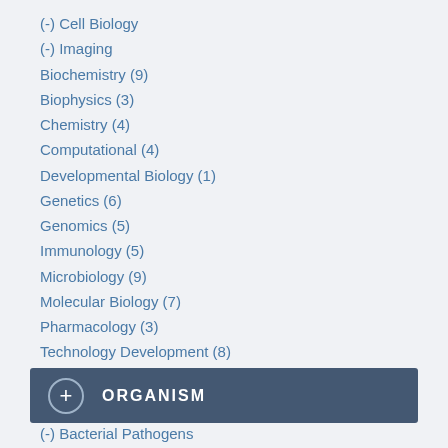(-) Cell Biology
(-) Imaging
Biochemistry (9)
Biophysics (3)
Chemistry (4)
Computational (4)
Developmental Biology (1)
Genetics (6)
Genomics (5)
Immunology (5)
Microbiology (9)
Molecular Biology (7)
Pharmacology (3)
Technology Development (8)
ORGANISM
(-) Bacterial Pathogens